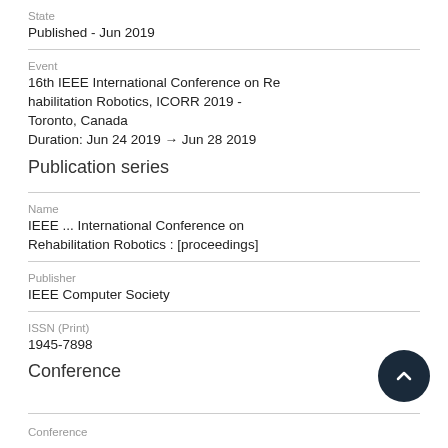State
Published - Jun 2019
Event
16th IEEE International Conference on Rehabilitation Robotics, ICORR 2019 - Toronto, Canada
Duration: Jun 24 2019 → Jun 28 2019
Publication series
Name
IEEE ... International Conference on Rehabilitation Robotics : [proceedings]
Publisher
IEEE Computer Society
ISSN (Print)
1945-7898
Conference
Conference